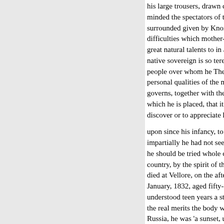his large trousers, drawn close up minded the spectators of the figu surrounded given by Knox. The difficulties which mother-in-law, great natural talents to in another native sovereign is so tered a goo people over whom he They were personal qualities of the modatio governs, together with the circum which he is placed, that it is offe discover or to appreciate his natu
upon since his infancy, to an Eng impartially he had not seen befor he should be tried whole deportm country, by the spirit of the ness died at Vellore, on the afternoon January, 1832, aged fifty-two yea understood teen years a state pris the real merits the body was con Russia, he was 'a sunset, under th
panied by his male relatives and prisoner, was indignation at the t